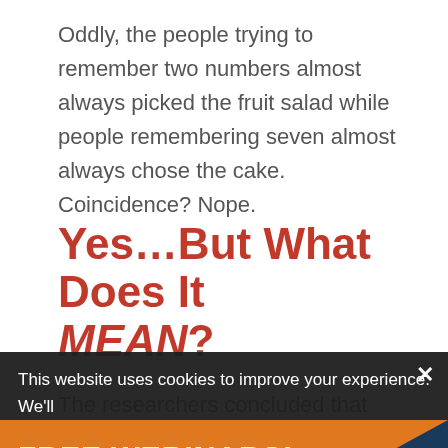Oddly, the people trying to remember two numbers almost always picked the fruit salad while people remembering seven almost always chose the cake. Coincidence? Nope.
Yes…But What Does It MEAN?
The researchers concluded that there are two parts
This website uses cookies to improve your experience. We'll assume you're ok with this, but you can opt-out if you wish
FREE WEBINARS!